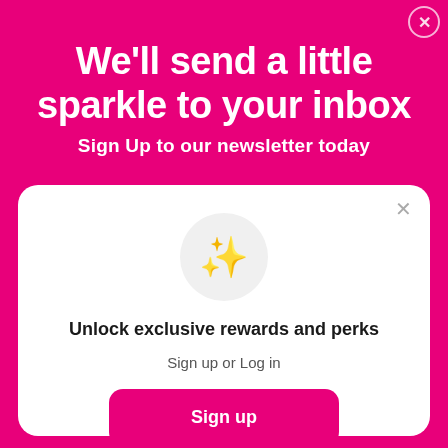We'll send a little sparkle to your inbox
Sign Up to our newsletter today
[Figure (illustration): Sparkle/stars emoji icon inside a light grey circle]
Unlock exclusive rewards and perks
Sign up or Log in
Sign up
Already have an account? Sign in